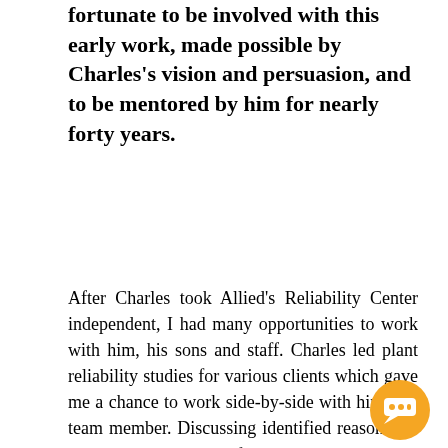fortunate to be involved with this early work, made possible by Charles's vision and persuasion, and to be mentored by him for nearly forty years.
After Charles took Allied's Reliability Center independent, I had many opportunities to work with him, his sons and staff. Charles led plant reliability studies for various clients which gave me a chance to work side-by-side with him as a team member. Discussing identified reasons for non-optimum plant performance, their solutions and strategies for their acceptance and implementation gave me insight into Charles that I never realized earlier. As most performance issues are management related, we often had observations and recommendations that